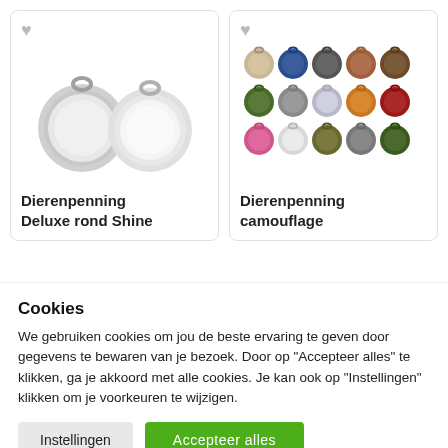[Figure (illustration): Product card showing two silver round pet tags/medals - Dierenpenning Deluxe rond Shine]
Dierenpenning Deluxe rond Shine
[Figure (illustration): Product card showing multiple colorful camouflage patterned round pet tags - Dierenpenning camouflage]
Dierenpenning camouflage
Cookies
We gebruiken cookies om jou de beste ervaring te geven door gegevens te bewaren van je bezoek. Door op "Accepteer alles" te klikken, ga je akkoord met alle cookies. Je kan ook op "Instellingen" klikken om je voorkeuren te wijzigen.
Instellingen
Accepteer alles